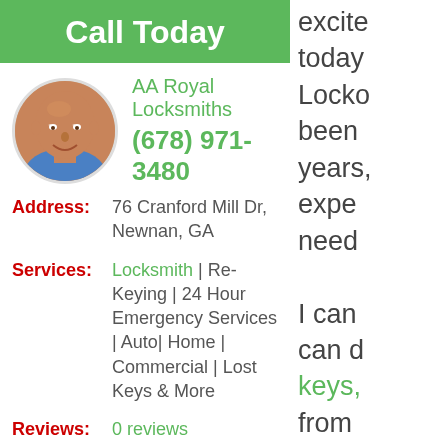Call Today
AA Royal Locksmiths
(678) 971-3480
[Figure (photo): Circular profile photo of a bald man smiling, wearing a blue shirt]
Address: 76 Cranford Mill Dr, Newnan, GA
Services: Locksmith | Re-Keying | 24 Hour Emergency Services | Auto| Home | Commercial | Lost Keys & More
Reviews: 0 reviews
Testimonial
excite today Locko been years, expe need I can can d keys, from lock f them thing